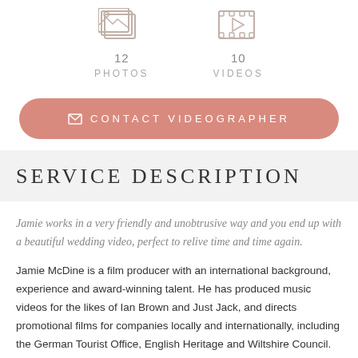[Figure (illustration): Photos icon with count: 12 PHOTOS]
[Figure (illustration): Videos icon with count: 10 VIDEOS]
✉ CONTACT VIDEOGRAPHER
SERVICE DESCRIPTION
Jamie works in a very friendly and unobtrusive way and you end up with a beautiful wedding video, perfect to relive time and time again.
Jamie McDine is a film producer with an international background, experience and award-winning talent. He has produced music videos for the likes of Ian Brown and Just Jack, and directs promotional films for companies locally and internationally, including the German Tourist Office, English Heritage and Wiltshire Council. His documentaries have been screened at festivals, cinemas and picked up several film awards around the world.